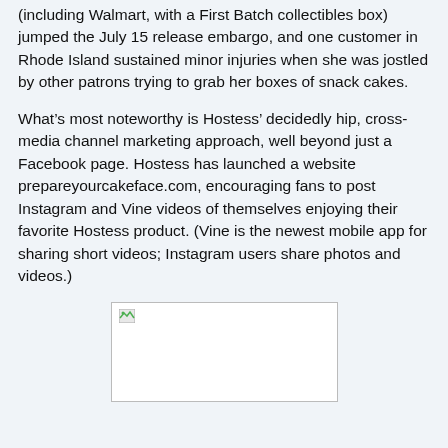(including Walmart, with a First Batch collectibles box) jumped the July 15 release embargo, and one customer in Rhode Island sustained minor injuries when she was jostled by other patrons trying to grab her boxes of snack cakes.
What’s most noteworthy is Hostess’ decidedly hip, cross-media channel marketing approach, well beyond just a Facebook page. Hostess has launched a website prepareyourcakeface.com, encouraging fans to post Instagram and Vine videos of themselves enjoying their favorite Hostess product. (Vine is the newest mobile app for sharing short videos; Instagram users share photos and videos.)
[Figure (photo): Broken image placeholder with a small green-tinted broken image icon in the top-left corner, white background, gray border.]